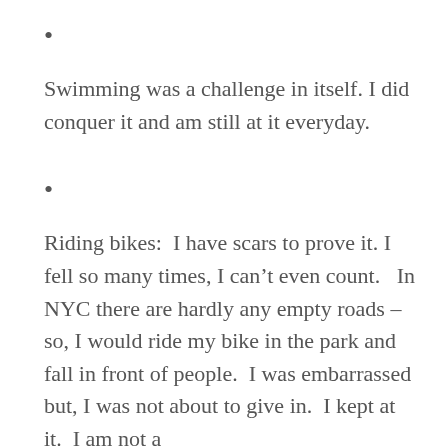•
Swimming was a challenge in itself. I did conquer it and am still at it everyday.
•
Riding bikes:  I have scars to prove it. I fell so many times, I can't even count.   In NYC there are hardly any empty roads – so, I would ride my bike in the park and fall in front of people.  I was embarrassed but, I was not about to give in.  I kept at it.  I am not a